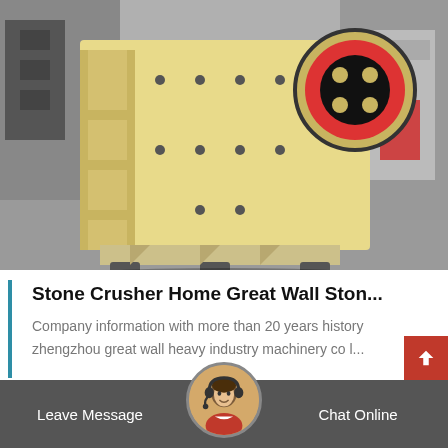[Figure (photo): Photo of a large yellow jaw crusher machine with red and black flywheel on the right side, sitting in an industrial factory setting with grey floor and equipment visible in background.]
Stone Crusher Home Great Wall Ston...
Company information with more than 20 years history zhengzhou great wall heavy industry machinery co l...
Leave Message   Chat Online